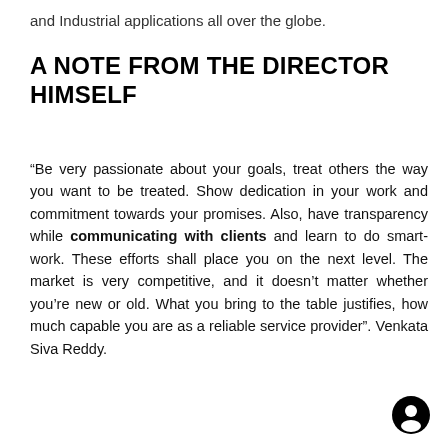and Industrial applications all over the globe.
A NOTE FROM THE DIRECTOR HIMSELF
“Be very passionate about your goals, treat others the way you want to be treated. Show dedication in your work and commitment towards your promises. Also, have transparency while communicating with clients and learn to do smart-work. These efforts shall place you on the next level. The market is very competitive, and it doesn’t matter whether you’re new or old. What you bring to the table justifies, how much capable you are as a reliable service provider”. Venkata Siva Reddy.
[Figure (other): Small circular icon with a person/user silhouette, black background]